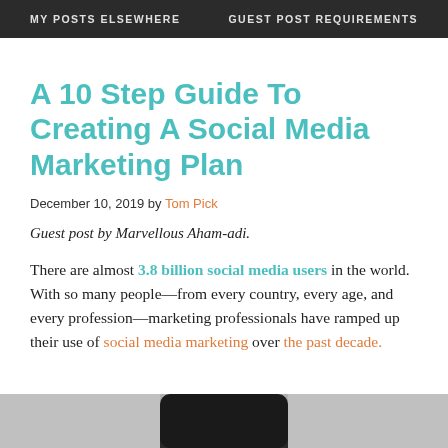MY POSTS ELSEWHERE   GUEST POST REQUIREMENTS
A 10 Step Guide To Creating A Social Media Marketing Plan
December 10, 2019 by Tom Pick
Guest post by Marvellous Aham-adi.
There are almost 3.8 billion social media users in the world. With so many people—from every country, every age, and every profession—marketing professionals have ramped up their use of social media marketing over the past decade.
[Figure (photo): Bottom portion of an image, likely showing a smartphone or device, partially visible at the bottom of the page.]